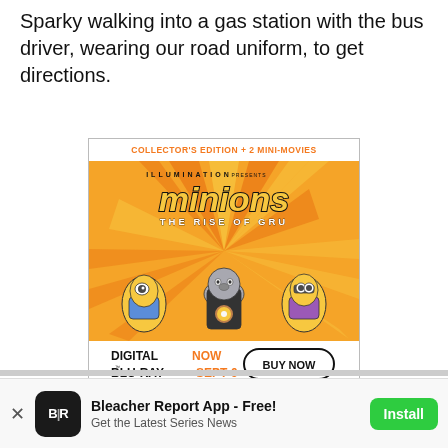Sparky walking into a gas station with the bus driver, wearing our road uniform, to get directions.
[Figure (illustration): Advertisement for Minions: The Rise of Gru - Collector's Edition + 2 Mini-Movies. Shows Gru and three Minions characters against an orange burst background. Text reads: ILLUMINATION PRESENTS, minions THE RISE OF GRU, DIGITAL NOW BLU-RAY SEPT 6, BUY NOW, © 2022 Universal Studios. All Rights Reserved. PG rating.]
[Figure (logo): Bleacher Report app banner at bottom. Shows B|R logo icon in dark background, text 'Bleacher Report App - Free! Get the Latest Series News' and a green Install button. An X close button on the left.]